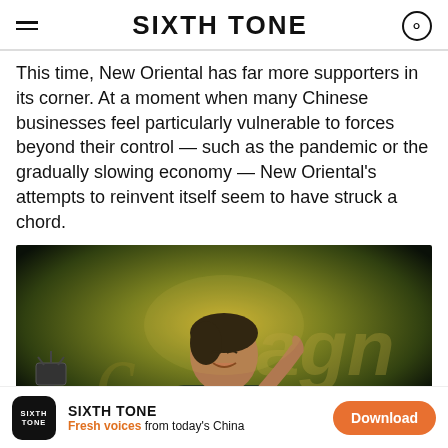SIXTH TONE
This time, New Oriental has far more supporters in its corner. At a moment when many Chinese businesses feel particularly vulnerable to forces beyond their control — such as the pandemic or the gradually slowing economy — New Oriental's attempts to reinvent itself seem to have struck a chord.
[Figure (photo): A person holding a microphone and pointing upward, speaking on stage under warm yellowish-green lighting, with partial text visible on a backdrop behind them.]
SIXTH TONE — Fresh voices from today's China — Download